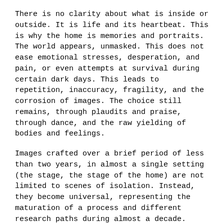There is no clarity about what is inside or outside. It is life and its heartbeat. This is why the home is memories and portraits. The world appears, unmasked. This does not ease emotional stresses, desperation, and pain, or even attempts at survival during certain dark days. This leads to repetition, inaccuracy, fragility, and the corrosion of images. The choice still remains, through plaudits and praise, through dance, and the raw yielding of bodies and feelings.
Images crafted over a brief period of less than two years, in almost a single setting (the stage, the stage of the home) are not limited to scenes of isolation. Instead, they become universal, representing the maturation of a process and different research paths during almost a decade.
The book also includes a short story titled Forty-six (46), where we can read: “We soon climbed back up to the inn, and my girls went to their rooms. But I was unwilling for all that to end. From that same wooden deck by the pool, I could see the beginning of the beach. Deserted, there were only footprints in the sand. I gazed at the stage down there, now empty. Although that unique afternoon was ending, my thoughts and feelings still whirled. The dream continued to swirl around me. I poured myself some wine, sat down and stretched out my legs. For a moment, I glanced at my feet, and there was: the same narrator-bird, right there alongside me on the ground, really close, almost leaning on my foot, gazing silently at me. A different silence that was almost